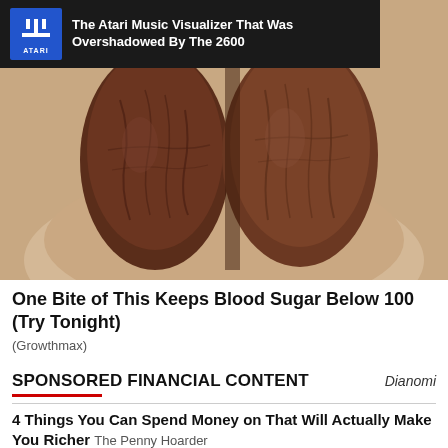[Figure (photo): Hand holding two large dark brown dried dates (or similar fruit), close-up photo]
[Figure (infographic): Atari logo advertisement banner: blue Atari logo with text 'The Atari Music Visualizer That Was Overshadowed By The 2600' on dark background]
One Bite of This Keeps Blood Sugar Below 100 (Try Tonight)
(Growthmax)
SPONSORED FINANCIAL CONTENT
Dianomi
4 Things You Can Spend Money on That Will Actually Make You Richer The Penny Hoarder